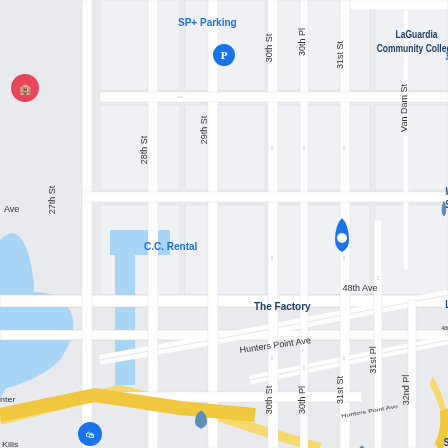[Figure (map): Google Maps screenshot of Long Island City, Queens, New York. Shows streets including 27th St, 28th St, 29th St, 30th St, 30th Pl, 31st St, 31st Pl, 32nd Pl, Van Dam St, 47th Ave, 48th Ave, Hunters Point Ave. Notable locations include LaGuardia Community College, NYC Taxi & Limousine Commission, Goodwill NYNJ Outlet Store & Donation Center, C.C. Rental, The Factory, SP+ Parking, Middle College School, 33 St - Rawson subway station, Electrical Industry Training Center, ABCO HVACR Supply + Solutions, Sid Harvey Industries, Maquet Art S, IEx Ground. Water body (Newtown Creek / Kills) shown in blue on the left.]